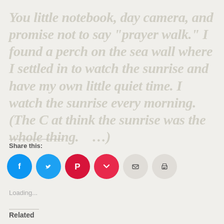You little notebook, day camera, and promise not to say "prayer walk." I found a perch on the sea wall where I settled in to watch the sunrise and have my own little quiet time. I watch the sunrise every morning. (The C at think the sunrise was the whole thing. …)
Share this:
[Figure (infographic): Row of six circular social sharing buttons: Facebook (blue), Twitter (blue), Pinterest (red/dark), Pocket (red), Email (light gray), Print (light gray)]
Loading...
Related